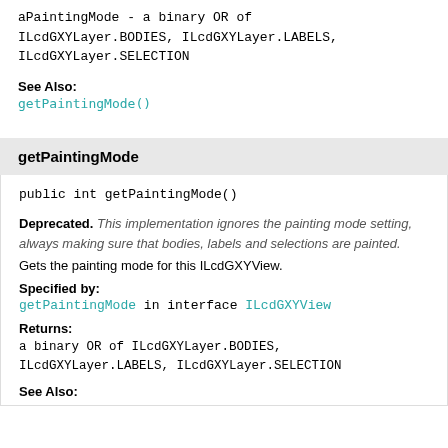aPaintingMode - a binary OR of ILcdGXYLayer.BODIES, ILcdGXYLayer.LABELS, ILcdGXYLayer.SELECTION
See Also:
getPaintingMode()
getPaintingMode
public int getPaintingMode()
Deprecated. This implementation ignores the painting mode setting, always making sure that bodies, labels and selections are painted. Gets the painting mode for this ILcdGXYView.
Specified by:
getPaintingMode in interface ILcdGXYView
Returns:
a binary OR of ILcdGXYLayer.BODIES, ILcdGXYLayer.LABELS, ILcdGXYLayer.SELECTION
See Also: